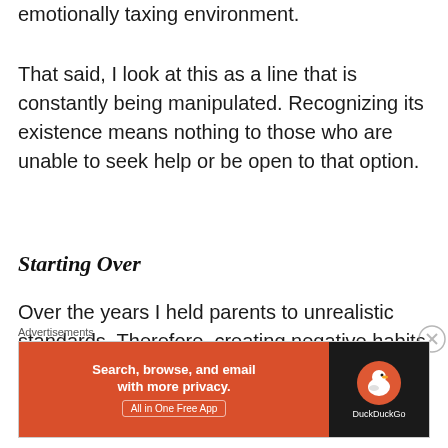emotionally taxing environment.
That said, I look at this as a line that is constantly being manipulated. Recognizing its existence means nothing to those who are unable to seek help or be open to that option.
Starting Over
Over the years I held parents to unrealistic standards. Therefore, creating negative habits that trickled down into the...
Advertisements
[Figure (screenshot): DuckDuckGo advertisement banner: orange left panel with text 'Search, browse, and email with more privacy. All in One Free App', dark right panel with DuckDuckGo logo and brand name.]